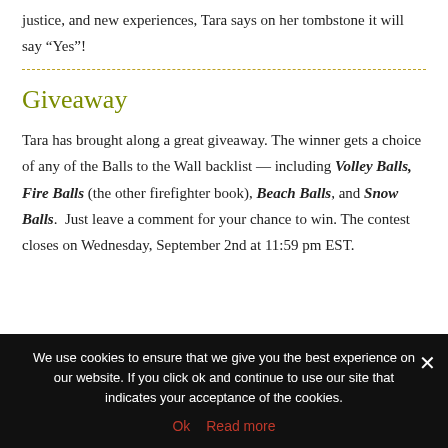justice, and new experiences, Tara says on her tombstone it will say “Yes”!
Giveaway
Tara has brought along a great giveaway. The winner gets a choice of any of the Balls to the Wall backlist — including Volley Balls, Fire Balls (the other firefighter book), Beach Balls, and Snow Balls.  Just leave a comment for your chance to win. The contest closes on Wednesday, September 2nd at 11:59 pm EST.
We use cookies to ensure that we give you the best experience on our website. If you click ok and continue to use our site that indicates your acceptance of the cookies.